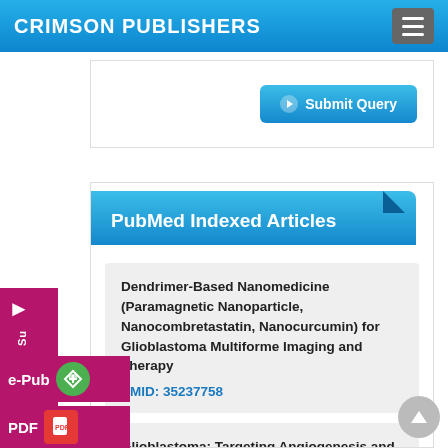CRIMSON PUBLISHERS
[Figure (screenshot): Submit Query button with arrow icon]
PubMed Indexed Articles
Dendrimer-Based Nanomedicine (Paramagnetic Nanoparticle, Nanocombretastatin, Nanocurcumin) for Glioblastoma Multiforme Imaging and Therapy
PMID: 35237758
Glioblastoma: Targeting Angiogenesis and Tyrosine Kinase Pathways